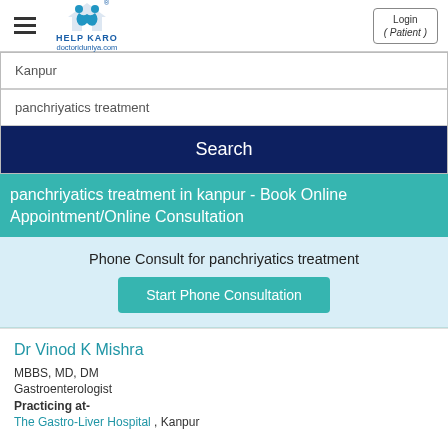HELP KARO doctoriduniya.com | Login (Patient)
Kanpur
panchriyatics treatment
Search
panchriyatics treatment in kanpur - Book Online Appointment/Online Consultation
Phone Consult for panchriyatics treatment
Start Phone Consultation
Dr Vinod K Mishra
MBBS, MD, DM
Gastroenterologist
Practicing at-
The Gastro-Liver Hospital , Kanpur